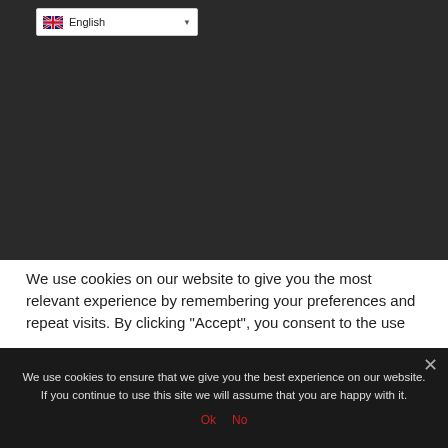[Figure (screenshot): Language selector dropdown showing UK flag and 'English' text with dropdown arrow, on dark background]
We use cookies on our website to give you the most relevant experience by remembering your preferences and repeat visits. By clicking “Accept”, you consent to the use
We use cookies to ensure that we give you the best experience on our website. If you continue to use this site we will assume that you are happy with it.
Ok   No